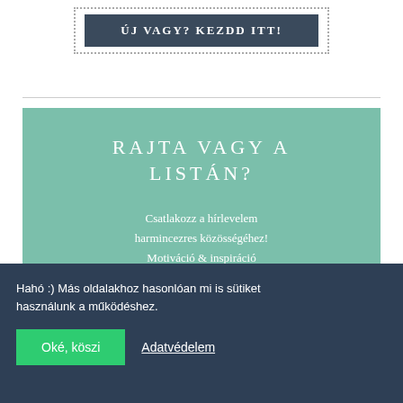ÚJ VAGY? KEZDD ITT!
RAJTA VAGY A LISTÁN?
Csatlakozz a hírlevelem harmincezres közösségéhez! Motiváció & inspiráció egyenesen az e-mail fiókodba! :)
Hahó :) Más oldalakhoz hasonlóan mi is sütiket használunk a működéshez.
Oké, köszi
Adatvédelem